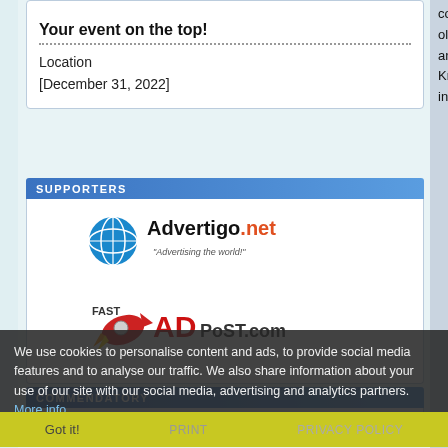Your event on the top!
Location
[December 31, 2022]
SUPPORTERS
[Figure (logo): Advertigo.net logo - globe icon with text 'Advertigo.net' and tagline 'Advertising the world!']
[Figure (logo): FastAdPost.com logo - rocket with AD label]
COMMENDATORY
Online classifieds
SIGN UP FOR OUR NEWSLETTER
We use cookies to personalise content and ads, to provide social media features and to analyse our traffic. We also share information about your use of our site with our social media, advertising and analytics partners. More info
Got it!
PRINT
PRIVACY POLICY
comes to the Pacific Northwest. They will be teaching oli, and a haku mele class. Tutu Holt will be teaching and other crafters, soon to be announced will a Knowledge of basic hula steps required. Visit K information of class registration or email: kekuk